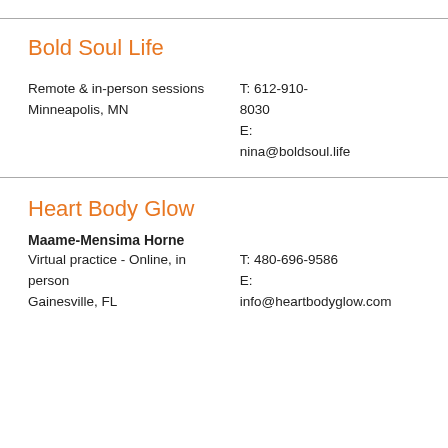Bold Soul Life
Remote & in-person sessions
Minneapolis, MN
T: 612-910-8030
E:
nina@boldsoul.life
Heart Body Glow
Maame-Mensima Horne
Virtual practice - Online, in person
Gainesville, FL
T: 480-696-9586
E:
info@heartbodyglow.com